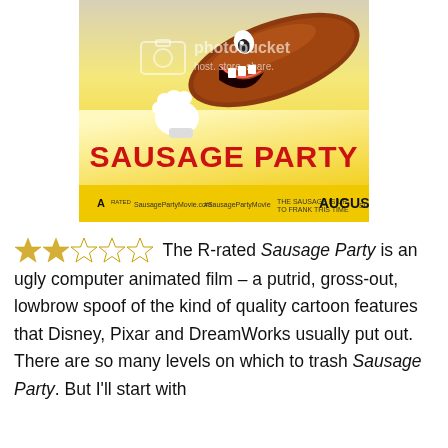[Figure (photo): Movie poster for Sausage Party showing an animated sausage character with a big grin, white gloves, against a yellow gradient background. Large red bold text reads SAUSAGE PARTY with AUGUST in black. Photobucket watermark overlay visible.]
The R-rated Sausage Party is an ugly computer animated film – a putrid, gross-out, lowbrow spoof of the kind of quality cartoon features that Disney, Pixar and DreamWorks usually put out. There are so many levels on which to trash Sausage Party. But I'll start with